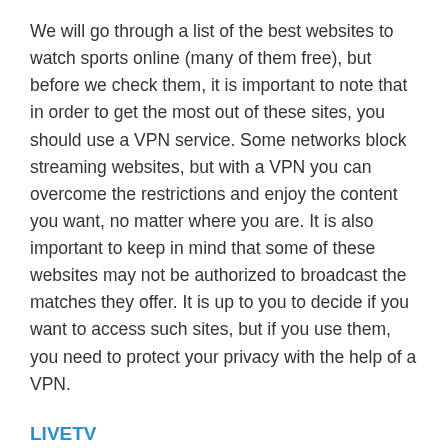We will go through a list of the best websites to watch sports online (many of them free), but before we check them, it is important to note that in order to get the most out of these sites, you should use a VPN service. Some networks block streaming websites, but with a VPN you can overcome the restrictions and enjoy the content you want, no matter where you are. It is also important to keep in mind that some of these websites may not be authorized to broadcast the matches they offer. It is up to you to decide if you want to access such sites, but if you use them, you need to protect your privacy with the help of a VPN.
LIVETV
LiveTV gives you the chance to watch live sport